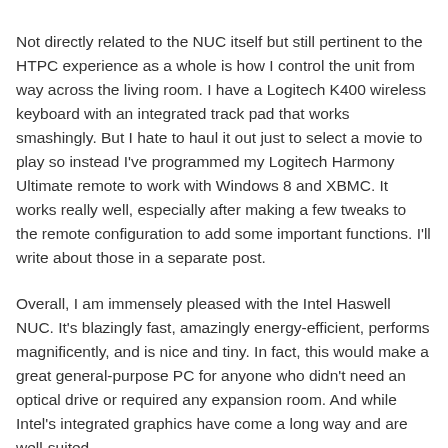Not directly related to the NUC itself but still pertinent to the HTPC experience as a whole is how I control the unit from way across the living room. I have a Logitech K400 wireless keyboard with an integrated track pad that works smashingly. But I hate to haul it out just to select a movie to play so instead I've programmed my Logitech Harmony Ultimate remote to work with Windows 8 and XBMC. It works really well, especially after making a few tweaks to the remote configuration to add some important functions. I'll write about those in a separate post.
Overall, I am immensely pleased with the Intel Haswell NUC. It's blazingly fast, amazingly energy-efficient, performs magnificently, and is nice and tiny. In fact, this would make a great general-purpose PC for anyone who didn't need an optical drive or required any expansion room. And while Intel's integrated graphics have come a long way and are well-suited